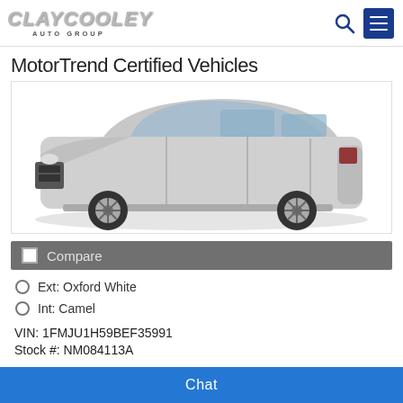CLAYCOOLEY AUTO GROUP
MotorTrend Certified Vehicles
[Figure (photo): Silver Ford Expedition SUV shown in side/front 3/4 view on white background]
Compare
Ext: Oxford White
Int: Camel
VIN: 1FMJU1H59BEF35991
Stock #: NM084113A
Chat